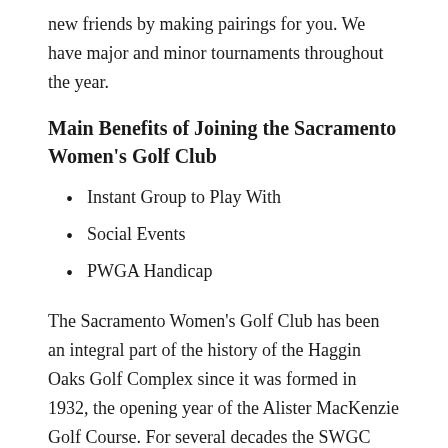new friends by making pairings for you. We have major and minor tournaments throughout the year.
Main Benefits of Joining the Sacramento Women's Golf Club
Instant Group to Play With
Social Events
PWGA Handicap
The Sacramento Women's Golf Club has been an integral part of the history of the Haggin Oaks Golf Complex since it was formed in 1932, the opening year of the Alister MacKenzie Golf Course. For several decades the SWGC was known as “The Ladies Golf Club of Sacramento” because it always